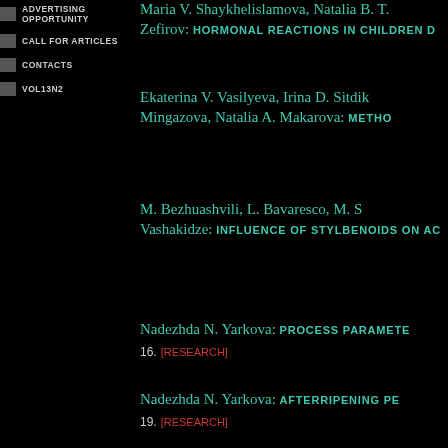ADVERTISING OPPORTUNITY
CALL FOR ARTICLES
CONTACTS
VOL13N2
Maria V. Shaykhelislamova, Natalia B. Zefirov: HORMONAL REACTIONS IN CHILDREN D
Ekaterina V. Vasilyeva, Irina D. Sitdik Mingazova, Natalia A. Makarova: METHO
M. Bezhuashvili, L. Bavaresco, M. S Vashakidze: INFLUENCE OF STYLBENOIDS ON AC
Nadezhda N. Yarkova: PROCESS PARAMETE
16. [RESEARCH]
Nadezhda N. Yarkova: AFTERRIPENING PE
19. [RESEARCH]